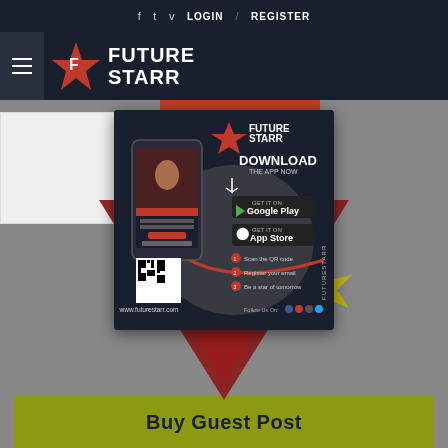f  t  v  LOGIN / REGISTER
[Figure (logo): FutureStarr logo with hamburger menu and red star icon]
[Figure (screenshot): FutureStarr app download promotional card showing phone mockup, Download the App Now heading, Google Play and App Store buttons, QR code, and www.futurestarr.com URL]
[Figure (illustration): Red diamond/arrow chevron shape pointing downward on gray background with gold starburst]
Buy Guest Post